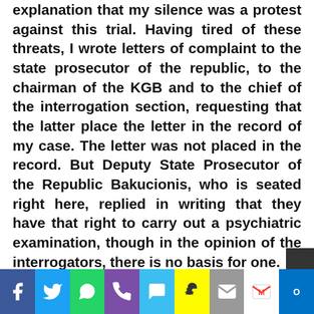explanation that my silence was a protest against this trial. Having tired of these threats, I wrote letters of complaint to the state prosecutor of the republic, to the chairman of the KGB and to the chief of the interrogation section, requesting that the latter place the letter in the record of my case. The letter was not placed in the record. But Deputy State Prosecutor of the Republic Bakucionis, who is seated right here, replied in writing that they have that right to carry out a psychiatric examination, though in the opinion of the interrogators, there is no basis for one.
But you see, that was not the subject of the letter, which was a protest against the abuses of the interrogators who seek to intimidate the person being interrogated and to force him to violate his conscience. In my letter I wrote, and I quote: "Does an interrogator have the right to threaten the person being interrogated with confinement in a psychiatric institution or with
[Figure (other): Social sharing toolbar with icons for Facebook, Twitter, WhatsApp, Phone, SMS, Snapchat, Email, Gmail, Outlook]